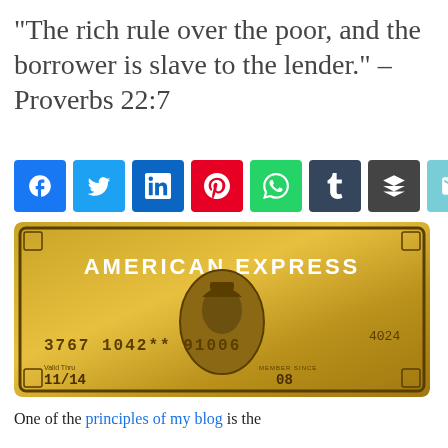“The rich rule over the poor, and the borrower is slave to the lender.” – Proverbs 22:7
[Figure (other): Social media sharing buttons row: Facebook, Twitter, LinkedIn, Pinterest, WhatsApp, Tumblr, Buffer, Email]
[Figure (photo): American Express gold credit card showing card number 3767 1042** 91006, expiry 11/14, member since 08, card number 4024]
One of the principles of my blog is the